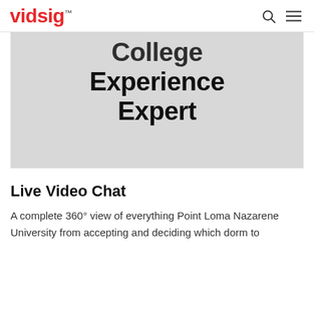vidsig™
[Figure (screenshot): Gray hero image banner with bold black text reading 'College Experience Expert' (top of text cut off showing partial 'College')]
Live Video Chat
A complete 360° view of everything Point Loma Nazarene University from accepting and deciding which dorm to